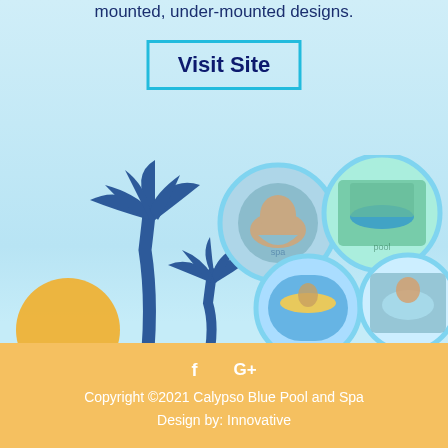mounted, under-mounted designs.
Visit Site
[Figure (illustration): Tropical beach scene with palm tree silhouettes in dark blue, an orange sun/ball, and four circular photo thumbnails showing: a woman relaxing in a spa, an above-ground swimming pool, a person floating on a raft in a pool, and a person in a hot tub.]
f  G+
Copyright ©2021 Calypso Blue Pool and Spa
Design by: Innovative